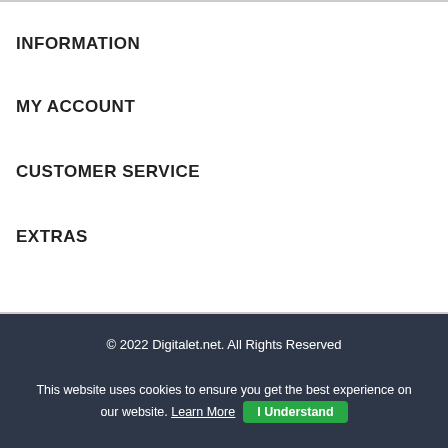INFORMATION
MY ACCOUNT
CUSTOMER SERVICE
EXTRAS
© 2022 Digitalet.net. All Rights Reserved
Allow payment base on PayPal
This website uses cookies to ensure you get the best experience on our website. Learn More  I Understand